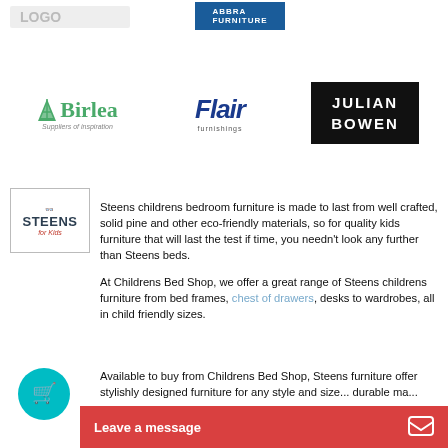[Figure (logo): Faded/partially visible logo at top left]
[Figure (logo): Abbra Furniture logo in blue rectangle at top center]
[Figure (logo): Birlea Suppliers of inspiration logo with green tree icon]
[Figure (logo): Flair Furnishings logo in dark blue italic font]
[Figure (logo): Julian Bowen logo white text on black background]
[Figure (logo): Steens for Kids logo in bordered box]
Steens childrens bedroom furniture is made to last from well crafted, solid pine and other eco-friendly materials, so for quality kids furniture that will last the test if time, you needn't look any further than Steens beds.
At Childrens Bed Shop, we offer a great range of Steens childrens furniture from bed frames, chest of drawers, desks to wardrobes, all in child friendly sizes.
Available to buy from Childrens Bed Shop, Steens furniture offer stylishly designed furniture for any style and size... durable ma...
[Figure (illustration): Teal shopping basket icon circle]
Leave a message